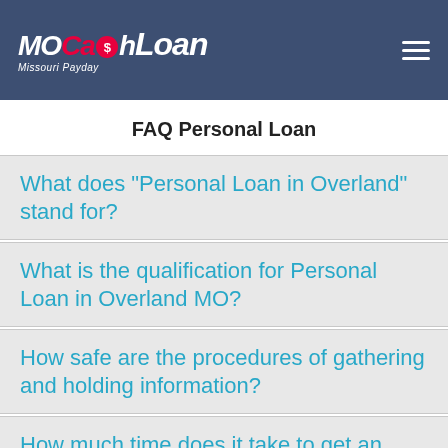MOCashLoan Missouri Payday
FAQ Personal Loan
What does “Personal Loan in Overland” stand for?
What is the qualification for Personal Loan in Overland MO?
How safe are the procedures of gathering and holding information?
How much time does it take to get an answer on request